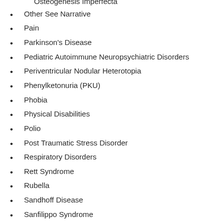Osteogenesis Imperfecta (partial, cut off at top)
Other See Narrative
Pain
Parkinson's Disease
Pediatric Autoimmune Neuropsychiatric Disorders
Periventricular Nodular Heterotopia
Phenylketonuria (PKU)
Phobia
Physical Disabilities
Polio
Post Traumatic Stress Disorder
Respiratory Disorders
Rett Syndrome
Rubella
Sandhoff Disease
Sanfilippo Syndrome
Scoliosis
Sensory Processing Disorder
Sickle Cell Disease
Skin Disease (partial, cut off at bottom)